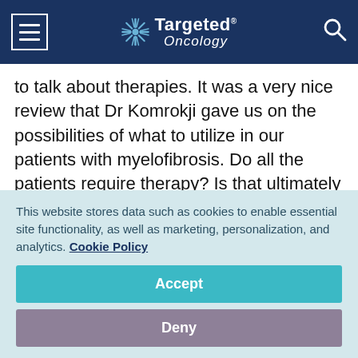Targeted Oncology
to talk about therapies. It was a very nice review that Dr Komrokji gave us on the possibilities of what to utilize in our patients with myelofibrosis. Do all the patients require therapy? Is that ultimately what happens in everybody? Prithviraj, what is your take here? How do we go about the therapy? Should we treat everybody at the time of diagnosis, or shall we
This website stores data such as cookies to enable essential site functionality, as well as marketing, personalization, and analytics. Cookie Policy
Accept
Deny